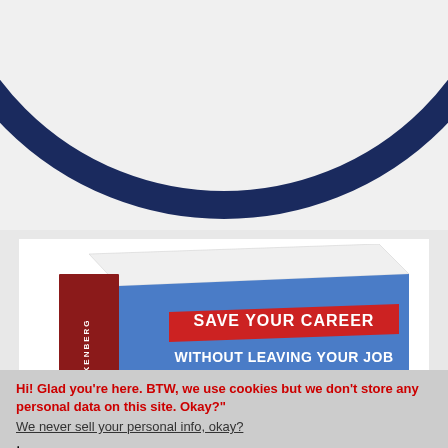[Figure (illustration): Partial view of a dark navy blue circular ring/logo on a light gray background — only the bottom arc portion is visible]
[Figure (photo): Book cover illustration: A book titled 'SAVE YOUR CAREER WITHOUT LEAVING YOUR JOB' with a blue cover and red banner on the spine reading 'EIKENBERG']
Hi! Glad you're here. BTW, we use cookies but we don't store any personal data on this site. Okay?"
We never sell your personal info, okay?.